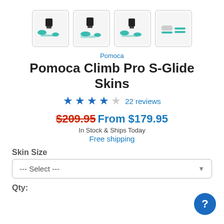[Figure (photo): Four product thumbnail images of Pomoca Climb Pro S-Glide Skins showing product from different angles]
Pomoca
Pomoca Climb Pro S-Glide Skins
★★★★☆ 22 reviews
$209.95 From $179.95
In Stock & Ships Today
Free shipping
Skin Size
--- Select ---
Qty: